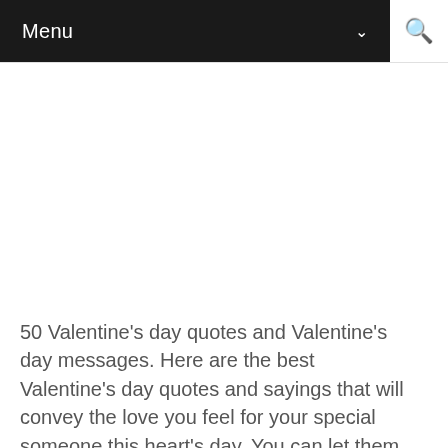Menu
50 Valentine's day quotes and Valentine's day messages. Here are the best Valentine's day quotes and sayings that will convey the love you feel for your special someone this heart's day. You can let them feel your love, care, and appreciation with these lovely Valentine's day quotes. Sometimes it's tough to put love into words, and these Valentine's messages will help